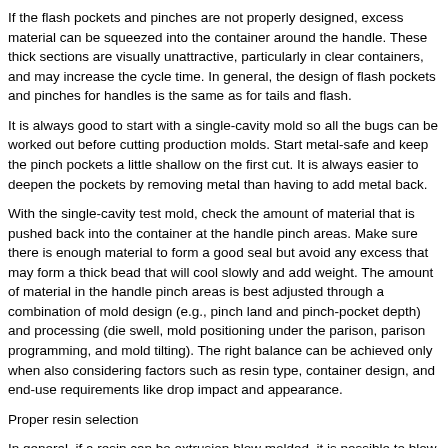If the flash pockets and pinches are not properly designed, excess material can be squeezed into the container around the handle. These thick sections are visually unattractive, particularly in clear containers, and may increase the cycle time. In general, the design of flash pockets and pinches for handles is the same as for tails and flash.
It is always good to start with a single-cavity mold so all the bugs can be worked out before cutting production molds. Start metal-safe and keep the pinch pockets a little shallow on the first cut. It is always easier to deepen the pockets by removing metal than having to add metal back.
With the single-cavity test mold, check the amount of material that is pushed back into the container at the handle pinch areas. Make sure there is enough material to form a good seal but avoid any excess that may form a thick bead that will cool slowly and add weight. The amount of material in the handle pinch areas is best adjusted through a combination of mold design (e.g., pinch land and pinch-pocket depth) and processing (die swell, mold positioning under the parison, parison programming, and mold tilting). The right balance can be achieved only when also considering factors such as resin type, container design, and end-use requirements like drop impact and appearance.
Proper resin selection
In general, if a resin can be extrusion blow molded, it is possible to blow it into a handleware container. HDPE and polypropylene are by far the most popular resins for handleware containers. PVC still sees wide use in some